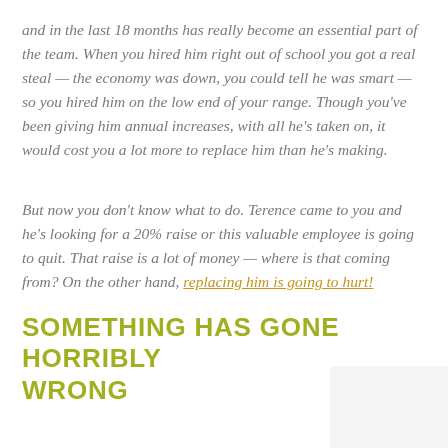and in the last 18 months has really become an essential part of the team. When you hired him right out of school you got a real steal — the economy was down, you could tell he was smart — so you hired him on the low end of your range. Though you've been giving him annual increases, with all he's taken on, it would cost you a lot more to replace him than he's making.
But now you don't know what to do. Terence came to you and he's looking for a 20% raise or this valuable employee is going to quit. That raise is a lot of money — where is that coming from? On the other hand, replacing him is going to hurt!
SOMETHING HAS GONE HORRIBLY WRONG